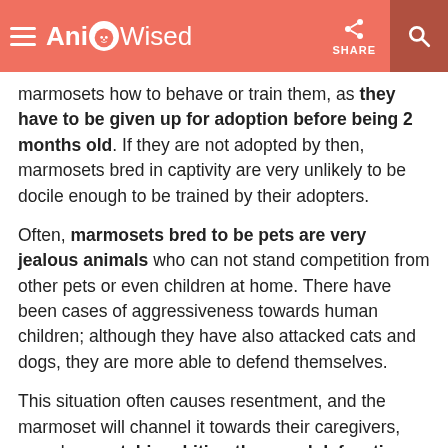AnimalWised
marmosets how to behave or train them, as they have to be given up for adoption before being 2 months old. If they are not adopted by then, marmosets bred in captivity are very unlikely to be docile enough to be trained by their adopters.
Often, marmosets bred to be pets are very jealous animals who can not stand competition from other pets or even children at home. There have been cases of aggressiveness towards human children; although they have also attacked cats and dogs, they are more able to defend themselves.
This situation often causes resentment, and the marmoset will channel it towards their caregivers, even by scratching, biting them and defecating everywhere in the house when they are loose. If adopted when very